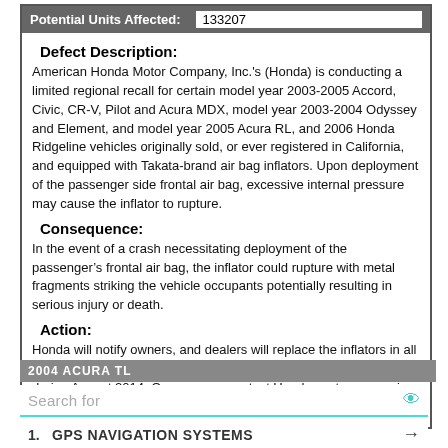| Potential Units Affected: | 133207 |
| --- | --- |
Defect Description:
American Honda Motor Company, Inc.'s (Honda) is conducting a limited regional recall for certain model year 2003-2005 Accord, Civic, CR-V, Pilot and Acura MDX, model year 2003-2004 Odyssey and Element, and model year 2005 Acura RL, and 2006 Honda Ridgeline vehicles originally sold, or ever registered in California, and equipped with Takata-brand air bag inflators. Upon deployment of the passenger side frontal air bag, excessive internal pressure may cause the inflator to rupture.
Consequence:
In the event of a crash necessitating deployment of the passenger's frontal air bag, the inflator could rupture with metal fragments striking the vehicle occupants potentially resulting in serious injury or death.
Action:
Honda will notify owners, and dealers will replace the inflators in all affected vehicles, free of charge. The recall is expected to begin during August 2014. Owners may contact Honda customer service at 1-800-999-1009.
2004 ACURA TL
Search for
1. GPS NAVIGATION SYSTEMS
2. CORVETTE NAVIGATION SYSTEM